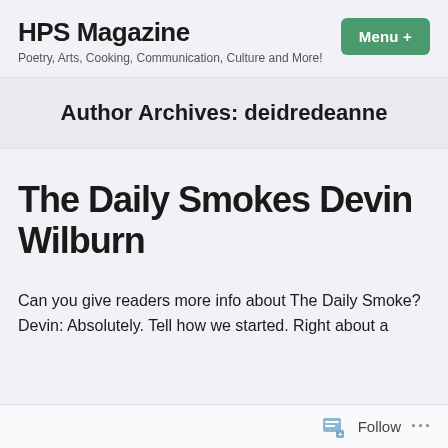HPS Magazine
Poetry, Arts, Cooking, Communication, Culture and More!
Author Archives: deidredeanne
The Daily Smokes Devin Wilburn
Can you give readers more info about The Daily Smoke? Devin: Absolutely. Tell how we started. Right about a
Follow ...